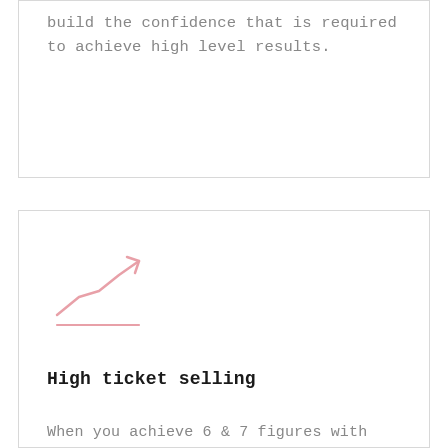build the confidence that is required to achieve high level results.
[Figure (illustration): Pink upward trending line chart icon with a horizontal pink underline beneath it]
High ticket selling
When you achieve 6 & 7 figures with your business, your confidence level increases as well. However, many business owners still struggle to take actions that do not allow them to feel the progress in their lives. I will help you remove those energetic blocks from your life by programming new patterns